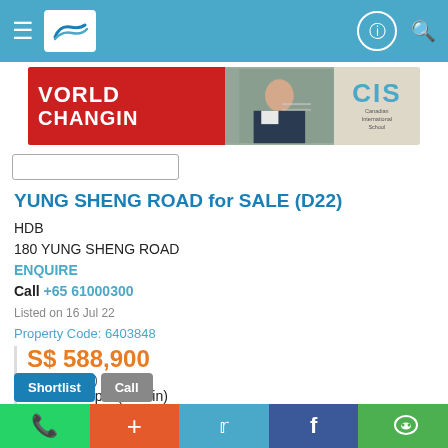Navigation bar with menu, logo, account and search icons
[Figure (photo): Banner advertisement for Canadian International School (CIS) with red background showing 'WORLD CHANGING' text and a photo of a student]
YUNG SHENG ROAD for SALE (D22)
HDB
180 YUNG SHENG ROAD
ENQUIRE
Call +65 61000300
Listed on 16 Jul 22
Property Code: 6403848
S$ 588,900
(Negotiable)
S$ 471.88 psf (built-in)
1,248 sqft / 115.94 sqm (built-in)
4R
WhatsApp | + | Twitter | Facebook | WeChat